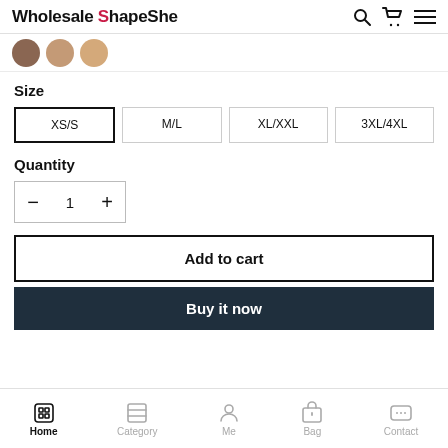Wholesale ShapeShe
[Figure (photo): Three small circular product thumbnail images]
Size
XS/S (selected)
M/L
XL/XXL
3XL/4XL
Quantity
1
Add to cart
Buy it now
Home  Category  Me  Bag  Contact